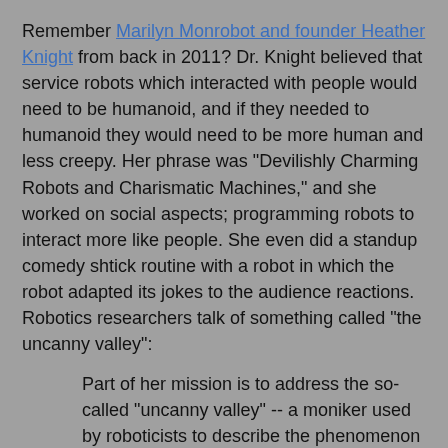Remember Marilyn Monrobot and founder Heather Knight from back in 2011?  Dr. Knight believed that service robots which interacted with people would need to be humanoid, and if they needed to humanoid they would need to be more human and less creepy.  Her phrase was "Devilishly Charming Robots and Charismatic Machines," and she worked on social aspects; programming robots to interact more like people.  She even did a standup comedy shtick routine with a robot in which the robot adapted its jokes to the audience reactions.  Robotics researchers talk of something called "the uncanny valley":
Part of her mission is to address the so-called "uncanny valley" -- a moniker used by roboticists to describe the phenomenon wherein humanoid robots give the creeps to real humans (which most of you probably are).
Robots, of course, have been moving into industry since just about forever and I think no one ever uses the terms charming or charismatic for industrial robots.  Utilitarian at best.  Furthermore, more robots are coming.  According to